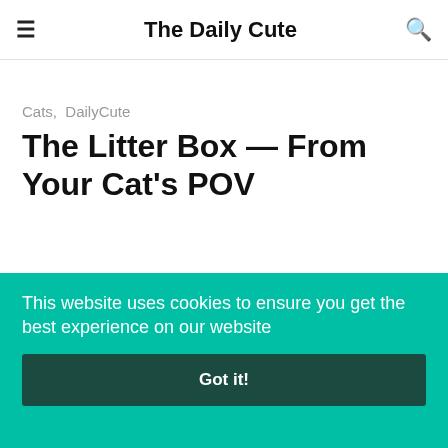The Daily Cute
Cats,  DailyCute
The Litter Box — From Your Cat's POV
[Figure (illustration): Purple and teal gradient background image with 'thedailycute.com' text overlay in a dark banner]
This website uses cookies to ensure you get the best experience on our website
Got it!